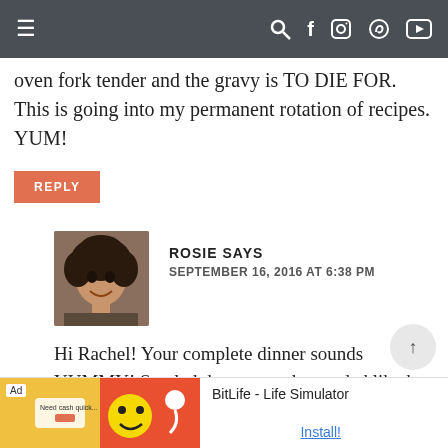Navigation bar with hamburger menu and social icons
oven fork tender and the gravy is TO DIE FOR. This is going into my permanent rotation of recipes. YUM!
REPLY
[Figure (photo): Avatar photo of Rosie, a woman with curly hair]
ROSIE SAYS
SEPTEMBER 16, 2016 AT 6:38 PM
Hi Rachel! Your complete dinner sounds YUMMY! So glad that you and your dad liked the recipe!
[Figure (screenshot): Ad banner for BitLife - Life Simulator app with Install button]